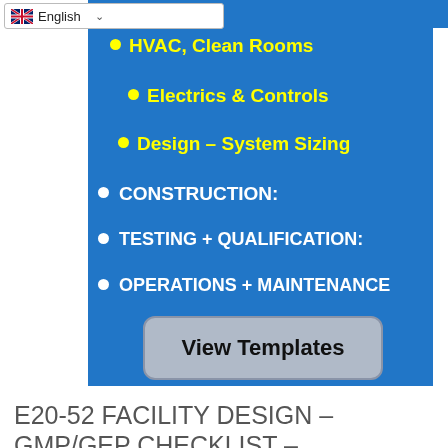& Utilities
HVAC, Clean Rooms
Electrics & Controls
Design – System Sizing
CONSTRUCTION:
TESTING + QUALIFICATION:
OPERATIONS + MAINTENANCE
[Figure (other): Button labeled 'View Templates' with rounded rectangle border on blue background]
E20-52 FACILITY DESIGN – GMP/GEP CHECKLIST –